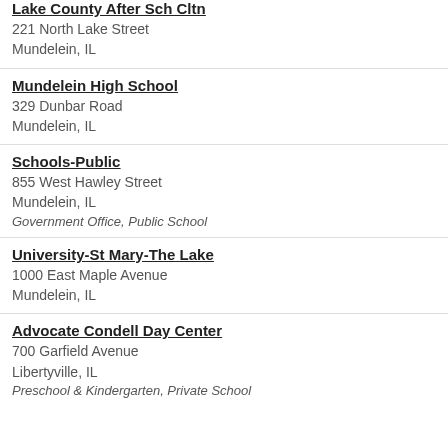Lake County After Sch Cltn
221 North Lake Street
Mundelein, IL
Mundelein High School
329 Dunbar Road
Mundelein, IL
Schools-Public
855 West Hawley Street
Mundelein, IL
Government Office, Public School
University-St Mary-The Lake
1000 East Maple Avenue
Mundelein, IL
Advocate Condell Day Center
700 Garfield Avenue
Libertyville, IL
Preschool & Kindergarten, Private School